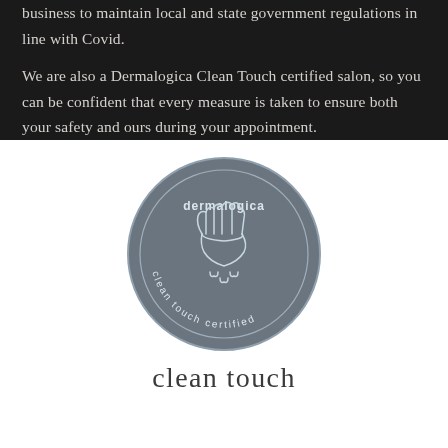business to maintain local and state government regulations in line with Covid.

We are also a Dermalogica Clean Touch certified salon, so you can be confident that every measure is taken to ensure both your safety and ours during your appointment.
[Figure (logo): Dermalogica Clean Touch Certified circular badge/logo. Dark grey circle with an inner ring outline, showing hands washing icon in the center, text 'dermalogica' at the top and 'clean touch certified' curved along the bottom inside the circle.]
clean touch